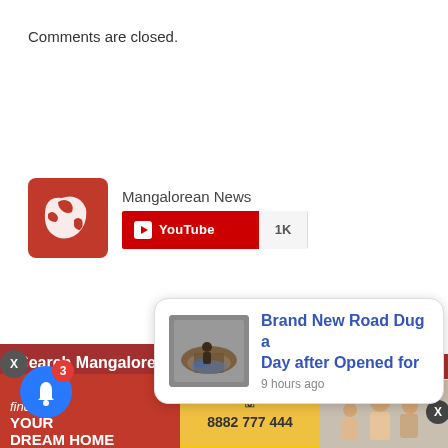Comments are closed.
[Figure (screenshot): Mangalorean News YouTube widget showing channel logo and YouTube subscribe button with 1K subscribers]
Search Mangalorean.Com
[Figure (screenshot): Enhanced by Google search bar with red search button]
[Figure (screenshot): Notification popup: Brand New Road Dug a Day after Opened for - 9 hours ago, with thumbnail image of dug road]
[Figure (screenshot): Bottom banner: find YOUR DREAM HOME with phone number 8882 777 444]